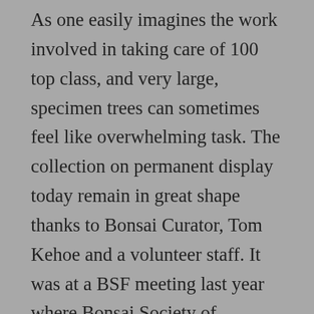As one easily imagines the work involved in taking care of 100 top class, and very large, specimen trees can sometimes feel like overwhelming task. The collection on permanent display today remain in great shape thanks to Bonsai Curator, Tom Kehoe and a volunteer staff. It was at a BSF meeting last year where Bonsai Society of Brevard's (BSOB) Reggie Perdue mentioned the volunteer work he was providing to the collection and raised awareness to the need for more help in ways of treasure, time, or talent. We tip our hats off to BSOB for lending its hand to maintain and uplift such a Florida treasure.
Well, Central Florida Bonsai Club (CFBC) of Orlando heard the call and right away volunteered to take a